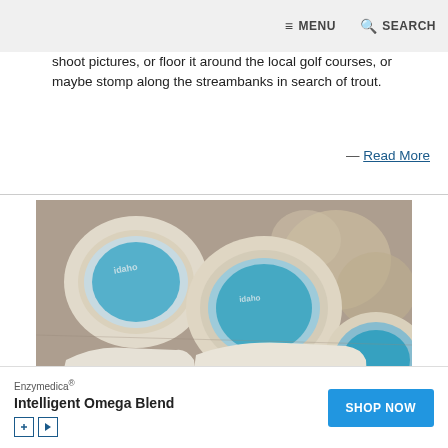≡ MENU   🔍 SEARCH
shoot pictures, or floor it around the local golf courses, or maybe stomp along the streambanks in search of trout.
— Read More
[Figure (photo): Close-up photograph of decorated sugar cookies shaped like the state of Idaho and round cookies, all with blue icing that reads 'Idaho']
[Figure (infographic): Advertisement banner for Enzymedica Intelligent Omega Blend with SHOP NOW button]